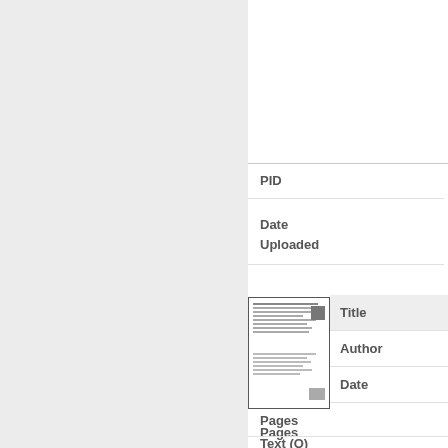PID
Date
Uploaded
[Figure (screenshot): Thumbnail preview of a document page showing dense text and small block elements]
Title
Author
Date
Pages
Text (O)